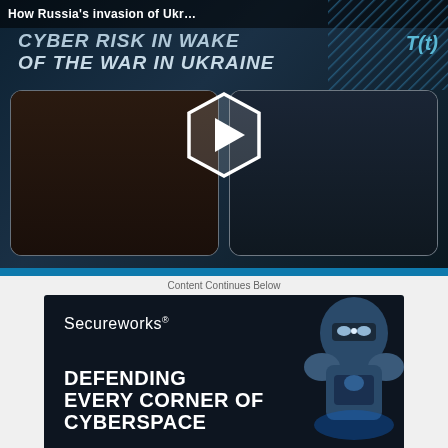[Figure (screenshot): Video thumbnail showing 'CYBER RISK IN WAKE OF THE WAR IN UKRAINE' with two webcam panels of speakers and a play button overlay. Top bar reads 'How Russia's invasion of Ukr...' with a T(t) formula logo.]
Content Continues Below
[Figure (screenshot): Secureworks advertisement banner with dark background showing text 'Secureworks DEFENDING EVERY CORNER OF CYBERSPACE' and an armored robot figure on the right.]